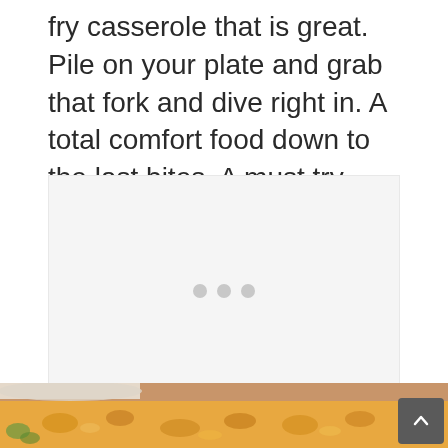fry casserole that is great. Pile on your plate and grab that fork and dive right in. A total comfort food down to the last bites. A must try recipe.
[Figure (other): Advertisement placeholder with three grey dots in the center on a light grey background]
[Figure (photo): Partial photo of a casserole dish with baked pasta or similar comfort food, visible at the bottom of the page]